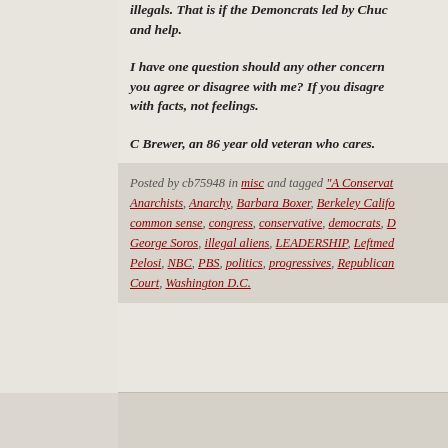illegals. That is if the Demoncrats led by Chuc and help.
I have one question should any other concern you agree or disagree with me? If you disagre with facts, not feelings.
C Brewer, an 86 year old veteran who cares.
Posted by cb75948 in misc and tagged "A Conservat Anarchists, Anarchy, Barbara Boxer, Berkeley Califo common sense, congress, conservative, democrats, D George Soros, illegal aliens, LEADERSHIP, Leftmed Pelosi, NBC, PBS, politics, progressives, Republican Court, Washington D.C.